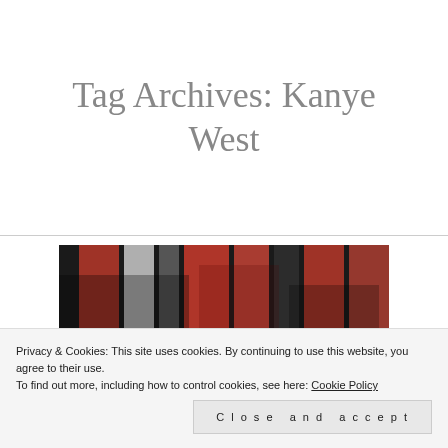Tag Archives: Kanye West
[Figure (photo): Album cover collage image showing colorful record/magazine covers with text 'Look What You Made Me Do' visible at the bottom]
Privacy & Cookies: This site uses cookies. By continuing to use this website, you agree to their use.
To find out more, including how to control cookies, see here: Cookie Policy
Close and accept